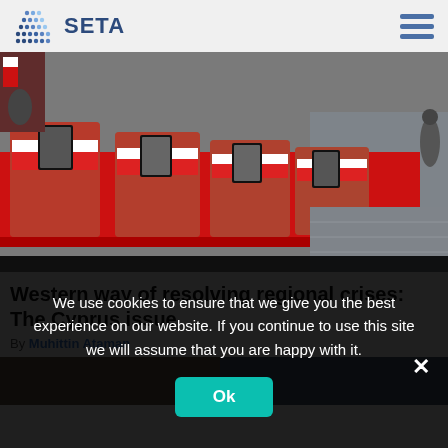SETA
[Figure (photo): Coffins draped in red and white flags with portraits, arranged on a long table with red tablecloth in a ceremonial setting.]
Western way of resolving regional crises: The Cyprus issue
By Muhittin Ataman
[Figure (photo): Bottom strip showing partial images of another article.]
We use cookies to ensure that we give you the best experience on our website. If you continue to use this site we will assume that you are happy with it.